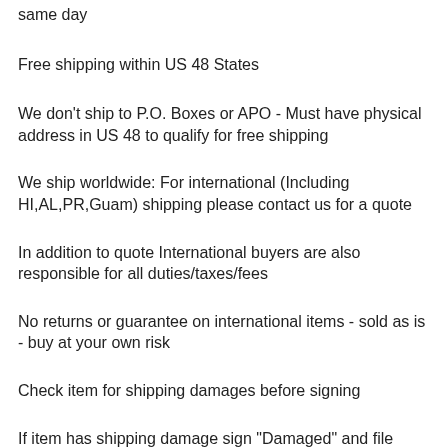same day
Free shipping within US 48 States
We don't ship to P.O. Boxes or APO - Must have physical address in US 48 to qualify for free shipping
We ship worldwide: For international (Including HI,AL,PR,Guam) shipping please contact us for a quote
In addition to quote International buyers are also responsible for all duties/taxes/fees
No returns or guarantee on international items - sold as is - buy at your own risk
Check item for shipping damages before signing
If item has shipping damage sign "Damaged" and file insurance claim with shipper carrier